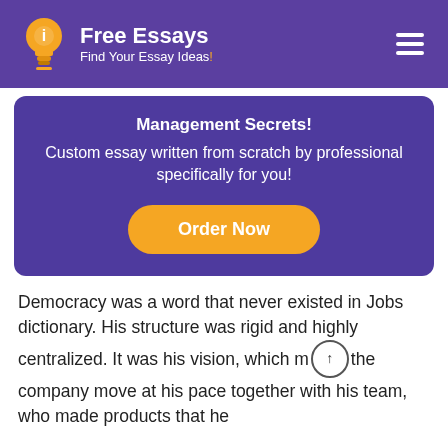Free Essays — Find Your Essay Ideas!
Management Secrets!
Custom essay written from scratch by professional specifically for you!
Order Now
Democracy was a word that never existed in Jobs dictionary. His structure was rigid and highly centralized. It was his vision, which m↑the company move at his pace together with his team, who made products that he